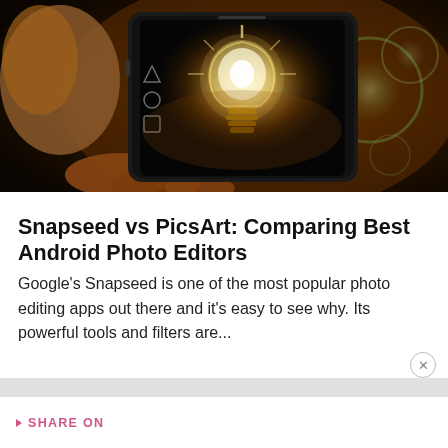[Figure (photo): A hand holding a smartphone displaying a glowing light bulb on a dark background, with bokeh golden/green circles in the background]
Snapseed vs PicsArt: Comparing Best Android Photo Editors
Google's Snapseed is one of the most popular photo editing apps out there and it's easy to see why. Its powerful tools and filters are...
SHARE ON